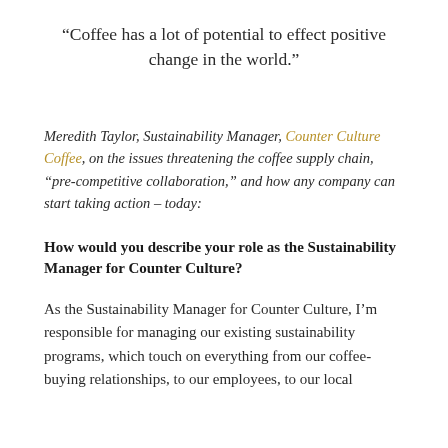“Coffee has a lot of potential to effect positive change in the world.”
Meredith Taylor, Sustainability Manager, Counter Culture Coffee, on the issues threatening the coffee supply chain, “pre-competitive collaboration,” and how any company can start taking action – today:
How would you describe your role as the Sustainability Manager for Counter Culture?
As the Sustainability Manager for Counter Culture, I’m responsible for managing our existing sustainability programs, which touch on everything from our coffee-buying relationships, to our employees, to our local